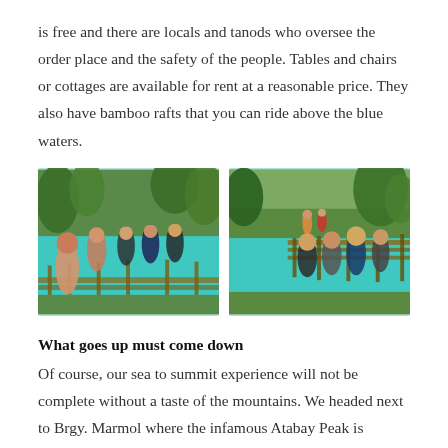is free and there are locals and tanods who oversee the order place and the safety of the people. Tables and chairs or cottages are available for rent at a reasonable price. They also have bamboo rafts that you can ride above the blue waters.
[Figure (photo): Group of people posing on bamboo rafts over turquoise water surrounded by tropical trees]
[Figure (photo): Group of people sitting on bamboo rafts over turquoise water with lush greenery in background]
What goes up must come down
Of course, our sea to summit experience will not be complete without a taste of the mountains. We headed next to Brgy. Marmol where the infamous Atabay Peak is located. From the circulating pictures we've seen, its limestone rock formation could be likened to that of Mt.